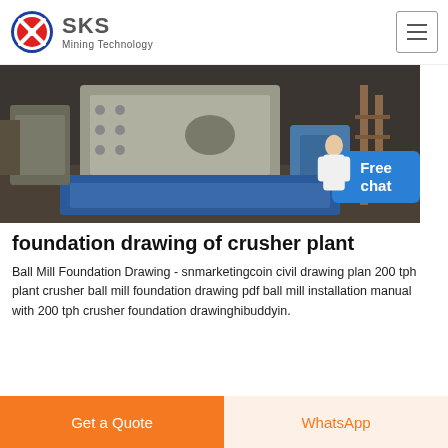[Figure (logo): SKS Mining Technology logo with red/blue circular emblem and company name]
[Figure (photo): Industrial crusher plant machinery in a factory setting, showing large metal equipment with blue base components and motor]
foundation drawing of crusher plant
Ball Mill Foundation Drawing - snmarketingcoin civil drawing plan 200 tph plant crusher ball mill foundation drawing pdf ball mill installation manual with 200 tph crusher foundation drawinghibuddyin.
[Figure (other): Free chat button bubble with representative person silhouette]
Get a Quote
WhatsApp